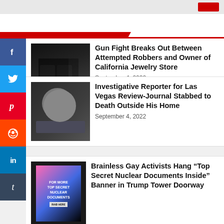RECENT POST
Gun Fight Breaks Out Between Attempted Robbers and Owner of California Jewelry Store
September 4, 2022
Investigative Reporter for Las Vegas Review-Journal Stabbed to Death Outside His Home
September 4, 2022
Brainless Gay Activists Hang “Top Secret Nuclear Documents Inside” Banner in Trump Tower Doorway